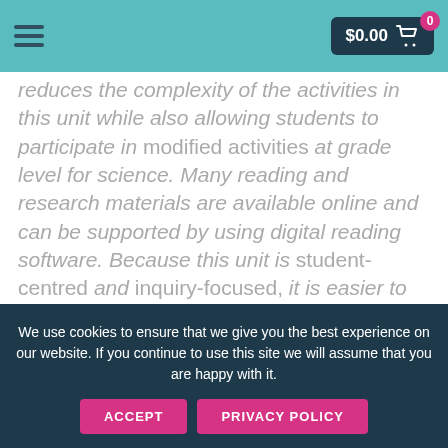$0.00  0
reduces the complexity of the activities in this unit while also allowing students to participate in modified activities at grade level for science. Many reading and research materials are available online and can be supported by using digital reading software.  Because this unit is student-centred and inquiry-focused, it is easier to differentiate the content and product produced by the students by understanding...
We use cookies to ensure that we give you the best experience on our website. If you continue to use this site we will assume that you are happy with it.
ACCEPT
PRIVACY POLICY